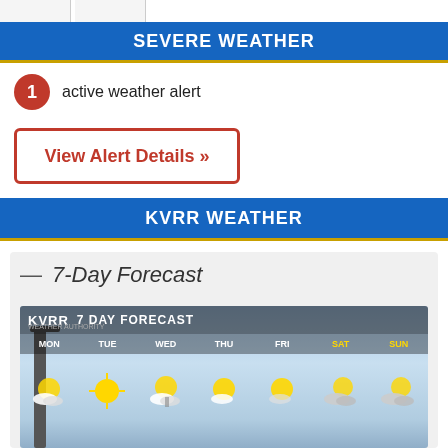SEVERE WEATHER
1 active weather alert
View Alert Details »
KVRR WEATHER
— 7-Day Forecast
[Figure (screenshot): KVRR 7 Day Forecast weather graphic showing MON, TUE, WED, THU, FRI, SAT, SUN with sunny/partly cloudy icons for each day]